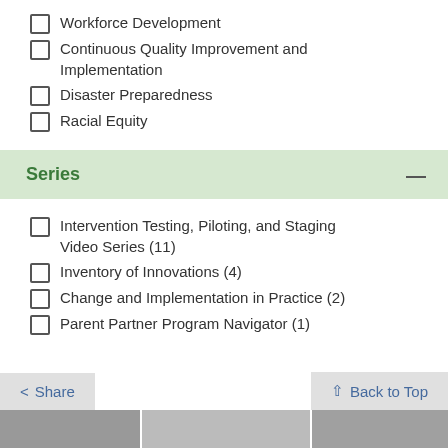Workforce Development
Continuous Quality Improvement and Implementation
Disaster Preparedness
Racial Equity
Series
Intervention Testing, Piloting, and Staging Video Series (11)
Inventory of Innovations (4)
Change and Implementation in Practice (2)
Parent Partner Program Navigator (1)
Share   Back to Top